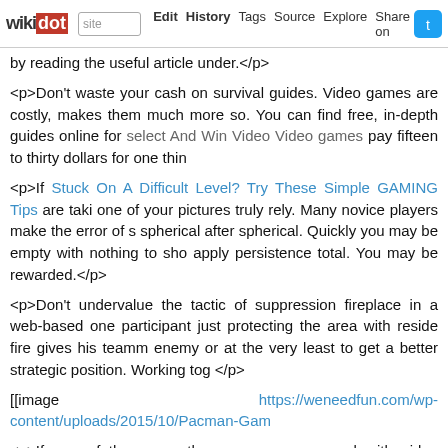wikidot | site | Edit | History | Tags | Source | Explore | Share on [Twitter]
by reading the useful article under.</p>
<p>Don't waste your cash on survival guides. Video games are costly, makes them much more so. You can find free, in-depth guides online for select And Win Video Video games pay fifteen to thirty dollars for one thin
<p>If Stuck On A Difficult Level? Try These Simple GAMING Tips are taki one of your pictures truly rely. Many novice players make the error of s spherical after spherical. Quickly you may be empty with nothing to sho apply persistence total. You may be rewarded.</p>
<p>Don't undervalue the tactic of suppression fireplace in a web-based one participant just protecting the area with reside fire gives his teamm enemy or at the very least to get a better strategic position. Working tog </p>
[[image https://weneedfun.com/wp-content/uploads/2015/10/Pacman-Gam
<p>If as a father or mother you are concerned with video recreation c mods are positioned in the game. These downloadable mods are usually companies, so there is no such thing as a rating system. What you thou can turn loads worse with one of those mods.</p>
<p>If you can't get previous a selected degree, flip off all noise, whether you have placed on. This may make it easier to to really give attention may have a better likelihood of progressing in the sport.</p>
<p>Don't be shy about downloading games digitally! Whereas this distr rocky start, the kinks have been ironed out. At the moment, downloading